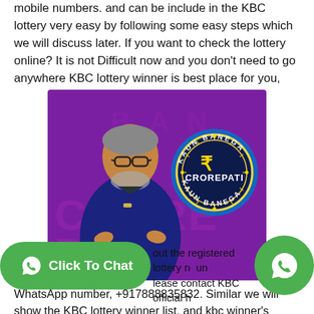mobile numbers. and can be include in the KBC lottery very easy by following some easy steps which we will discuss later. If you want to check the lottery online? It is not Difficult now and you don't need to go anywhere KBC lottery winner is best place for you,
[Figure (photo): Promotional image for Kaun Banega Crorepati (KBC) lottery featuring a man in a dark suit with arms crossed against a purple background, with the KBC 'Kaun Banega Crorepati' circular logo on the right side.]
out the registered lottery n  un please contact KBC official h WhatsApp number, +917888835832. Similar we will show the KBC lottery winner list, and kbc winner's names on this KBC official